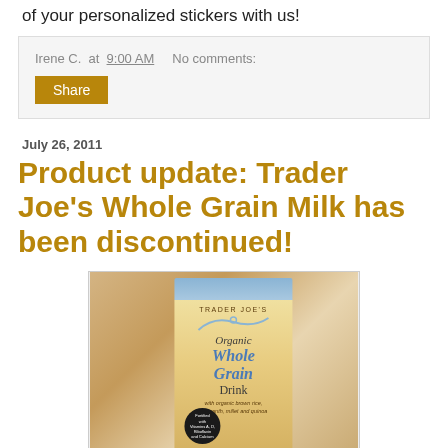of your personalized stickers with us!
Irene C. at 9:00 AM    No comments:
Share
July 26, 2011
Product update: Trader Joe's Whole Grain Milk has been discontinued!
[Figure (photo): Photo of a Trader Joe's Organic Whole Grain Drink carton (with organic brown rice, amaranth, millet and quinoa)]